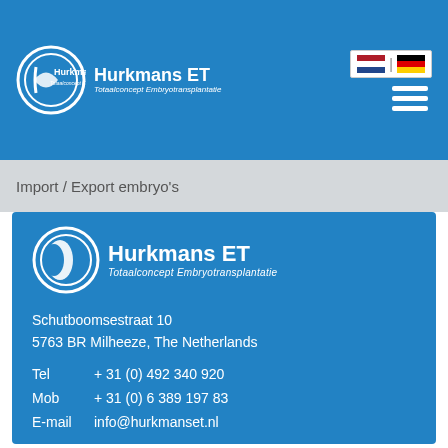[Figure (logo): Hurkmans ET logo - circular icon with H letter and text 'Hurkmans ET Totaalconcept Embryotransplantatie' in white on blue header bar]
Import / Export embryo's
[Figure (logo): Hurkmans ET large logo with circular icon and text 'Hurkmans ET Totaalconcept Embryotransplantatie' in white on blue contact card]
Schutboomsestraat 10
5763 BR Milheeze, The Netherlands
Tel     + 31 (0) 492 340 920
Mob    + 31 (0) 6 389 197 83
E-mail  info@hurkmanset.nl